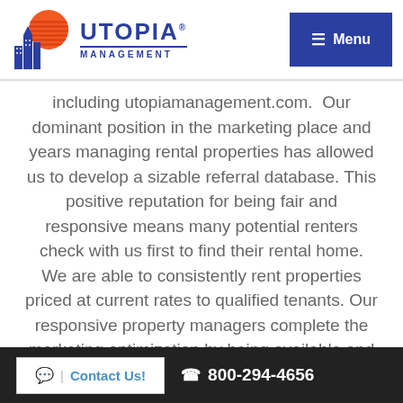Utopia Management — Menu
including utopiamanagement.com. Our dominant position in the marketing place and years managing rental properties has allowed us to develop a sizable referral database. This positive reputation for being fair and responsive means many potential renters check with us first to find their rental home. We are able to consistently rent properties priced at current rates to qualified tenants. Our responsive property managers complete the marketing optimization by being available and knowledgeable, with phones and
Contact Us! | 800-294-4656